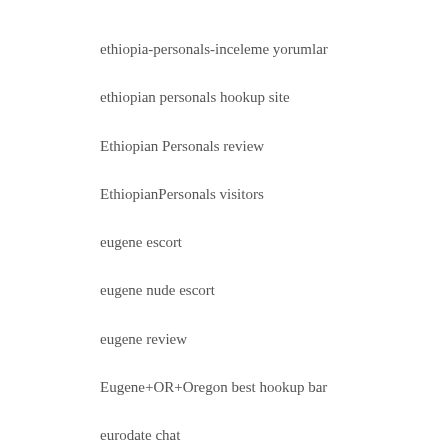ethiopia-personals-inceleme yorumlar
ethiopian personals hookup site
Ethiopian Personals review
EthiopianPersonals visitors
eugene escort
eugene nude escort
eugene review
Eugene+OR+Oregon best hookup bar
eurodate chat
Eurodate co je
eurodate es reviews
Eurodate meetic site
EuroDate visitors
eurodate-inceleme visitors
European Dating Sites sites